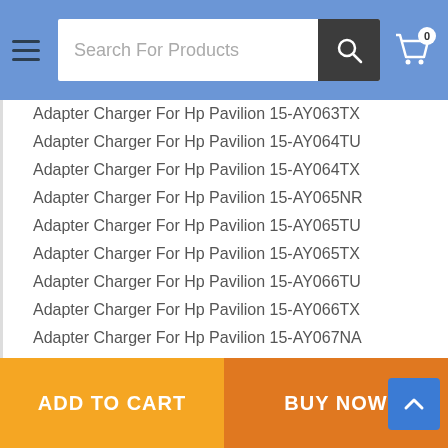Search For Products
Adapter Charger For Hp Pavilion 15-AY063TX
Adapter Charger For Hp Pavilion 15-AY064TU
Adapter Charger For Hp Pavilion 15-AY064TX
Adapter Charger For Hp Pavilion 15-AY065NR
Adapter Charger For Hp Pavilion 15-AY065TU
Adapter Charger For Hp Pavilion 15-AY065TX
Adapter Charger For Hp Pavilion 15-AY066TU
Adapter Charger For Hp Pavilion 15-AY066TX
Adapter Charger For Hp Pavilion 15-AY067NA
Adapter Charger For Hp Pavilion 15-AY067NR
Adapter Charger For Hp Pavilion 15-AY067SA
Adapter Charger For Hp Pavilion 15-AY067TU
Adapter Charger For Hp Pavilion 15-AY067TX
Adapter Charger For Hp Pavilion 15-AY068NA
Adapter Charger For Hp Pavilion 15-AY068NR
Adapter Charger For Hp Pavilion 15-AY068SA
ADD TO CART | BUY NOW